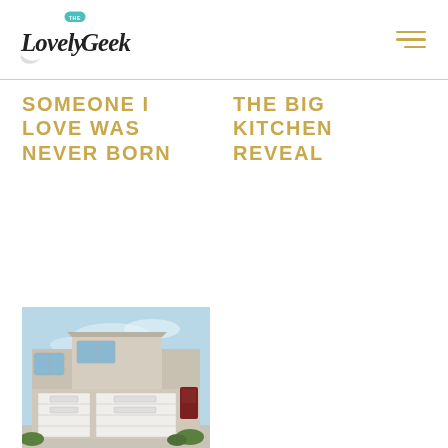The Lovely Geek
SOMEONE I LOVE WAS NEVER BORN
THE BIG KITCHEN REVEAL
[Figure (photo): Exterior photo of a modern two-story beige/grey house with white garage doors, dark red entry door, and blue sky]
NEW HOUSE WHO DIS